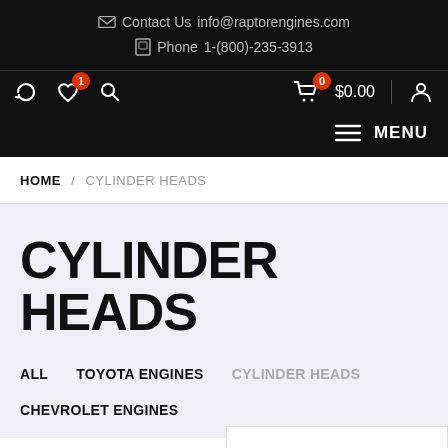Contact Us  info@raptorengines.com
Phone  1-(800)-235-3913
Wishlist 1  Search  Cart 0  $0.00  Account  MENU
HOME / CYLINDER HEADS
CYLINDER HEADS
ALL
TOYOTA ENGINES
CYLINDER HEADS
CHEVROLET ENGINES